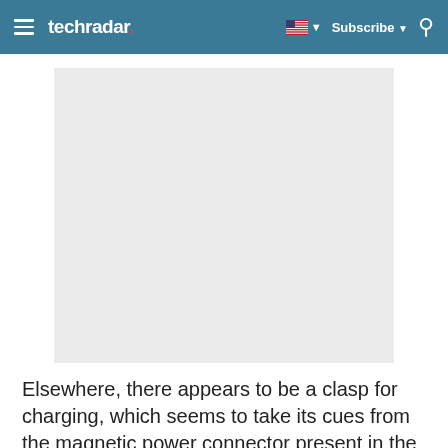techradar | Subscribe
[Figure (photo): Light grey placeholder image, approximately square, centered on the page]
Elsewhere, there appears to be a clasp for charging, which seems to take its cues from the magnetic power connector present in the Microsoft Surface